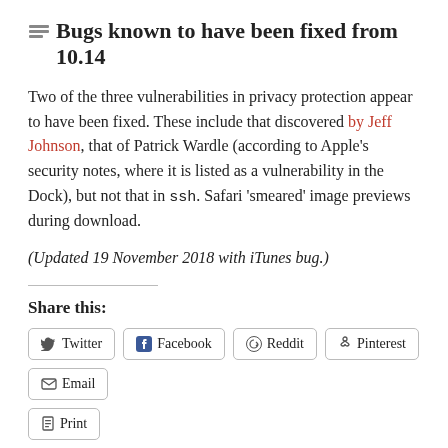Bugs known to have been fixed from 10.14
Two of the three vulnerabilities in privacy protection appear to have been fixed. These include that discovered by Jeff Johnson, that of Patrick Wardle (according to Apple’s security notes, where it is listed as a vulnerability in the Dock), but not that in ssh. Safari ‘smeared’ image previews during download.
(Updated 19 November 2018 with iTunes bug.)
Share this:
Twitter  Facebook  Reddit  Pinterest  Email  Print
Like  7 bloggers like this.